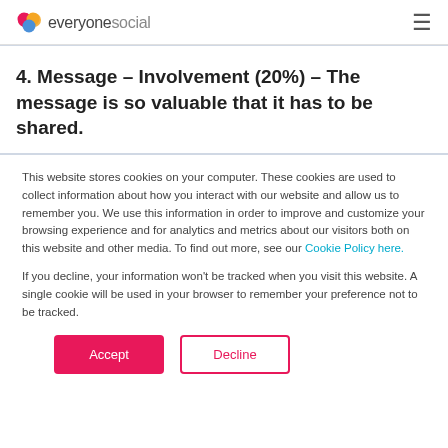everyonesocial
4. Message – Involvement (20%) – The message is so valuable that it has to be shared.
This website stores cookies on your computer. These cookies are used to collect information about how you interact with our website and allow us to remember you. We use this information in order to improve and customize your browsing experience and for analytics and metrics about our visitors both on this website and other media. To find out more, see our Cookie Policy here.
If you decline, your information won't be tracked when you visit this website. A single cookie will be used in your browser to remember your preference not to be tracked.
Accept  Decline